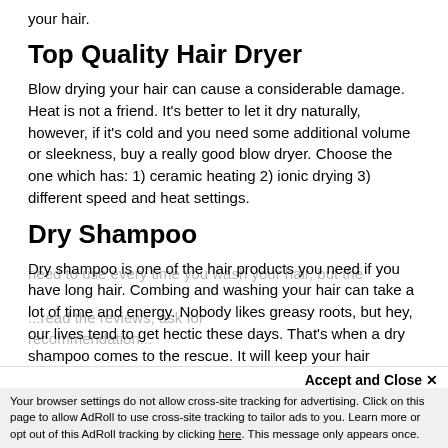your hair.
Top Quality Hair Dryer
Blow drying your hair can cause a considerable damage. Heat is not a friend. It's better to let it dry naturally, however, if it's cold and you need some additional volume or sleekness, buy a really good blow dryer. Choose the one which has: 1) ceramic heating 2) ionic drying 3)  different speed and heat settings.
Dry Shampoo
Dry shampoo is one of the hair products you need if you have long hair. Combing and washing your hair can take a lot of time and energy. Nobody likes greasy roots, but hey, our lives tend to get hectic these days. That's when a dry shampoo comes to the rescue. It will keep your hair looking good on the days when you're just too busy.
Mighty conditioner
Find a quality deep conditioner. The conditioner which you don't
need to use every time you wash your hair, but the...
Accept and Close ✕
Your browser settings do not allow cross-site tracking for advertising. Click on this page to allow AdRoll to use cross-site tracking to tailor ads to you. Learn more or opt out of this AdRoll tracking by clicking here. This message only appears once.